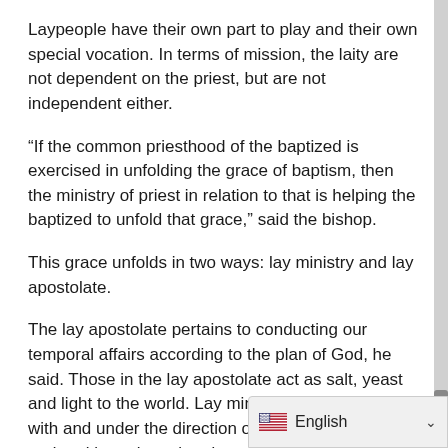Laypeople have their own part to play and their own special vocation. In terms of mission, the laity are not dependent on the priest, but are not independent either.
“If the common priesthood of the baptized is exercised in unfolding the grace of baptism, then the ministry of priest in relation to that is helping the baptized to unfold that grace,” said the bishop.
This grace unfolds in two ways: lay ministry and lay apostolate.
The lay apostolate pertains to conducting our temporal affairs according to the plan of God, he said. Those in the lay apostolate act as salt, yeast and light to the world. Lay ministry involves serving with and under the direction of the pastor and undertaking roles related to worship, formation and service not requiring holy orders.
Not all — whether they be laypeople or clergy — are ready to meet these challenges, said B
patience, perseverance, cateche